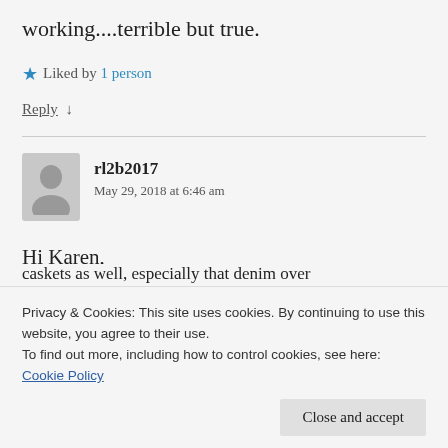working....terrible but true.
★ Liked by 1 person
Reply ↓
rl2b2017
May 29, 2018 at 6:46 am
Hi Karen,
Privacy & Cookies: This site uses cookies. By continuing to use this website, you agree to their use.
To find out more, including how to control cookies, see here: Cookie Policy
caskets as well, especially that denim over